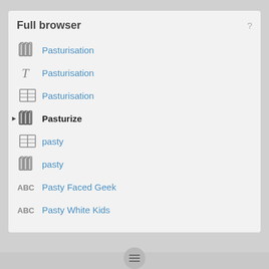Full browser
Pasturisation
Pasturisation
Pasturisation
Pasturize
pasty
pasty
Pasty Faced Geek
Pasty White Kids